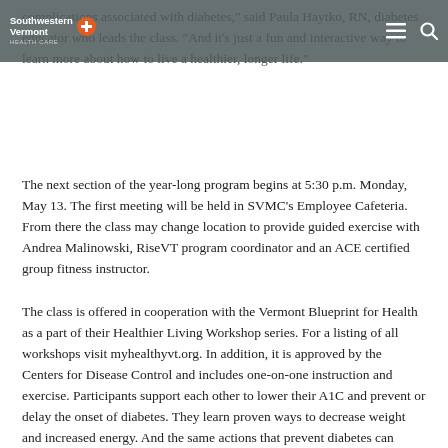Southwestern Vermont Health Care
complications associated with diabetes," said Paula Haytko, RN, diabetes educator who leads the class. "And it's just a fun and interactive way to learn more about how to live a healthier, longer life."
The next section of the year-long program begins at 5:30 p.m. Monday, May 13. The first meeting will be held in SVMC's Employee Cafeteria. From there the class may change location to provide guided exercise with Andrea Malinowski, RiseVT program coordinator and an ACE certified group fitness instructor.
The class is offered in cooperation with the Vermont Blueprint for Health as a part of their Healthier Living Workshop series. For a listing of all workshops visit myhealthyvt.org. In addition, it is approved by the Centers for Disease Control and includes one-on-one instruction and exercise. Participants support each other to lower their A1C and prevent or delay the onset of diabetes. They learn proven ways to decrease weight and increased energy. And the same actions that prevent diabetes can prevent heart disease and stroke, as well.
"I am excited to be involved with this program and to build on its